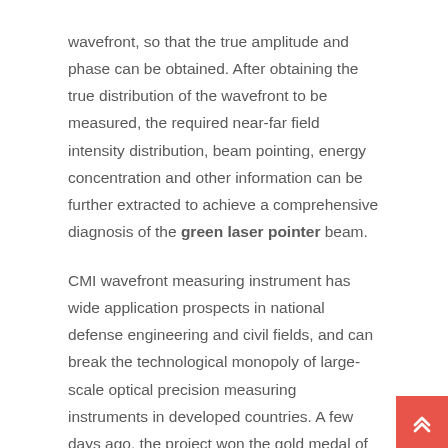wavefront, so that the true amplitude and phase can be obtained. After obtaining the true distribution of the wavefront to be measured, the required near-far field intensity distribution, beam pointing, energy concentration and other information can be further extracted to achieve a comprehensive diagnosis of the green laser pointer beam.
CMI wavefront measuring instrument has wide application prospects in national defense engineering and civil fields, and can break the technological monopoly of large-scale optical precision measuring instruments in developed countries. A few days ago, the project won the gold medal of the first “Chinese Civil and Civil Dual-use Technology Innovation and Application Competition” and was highly evaluated by the jury. The high-power laser physics unit is full of confidence in the future of CMI wavefront measuri...